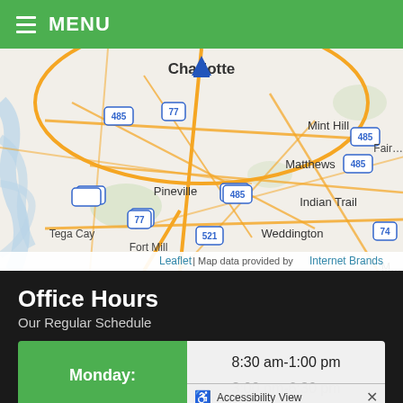MENU
[Figure (map): Street map showing Charlotte and surrounding areas including Mint Hill, Matthews, Indian Trail, Pineville, Tega Cay, Fort Mill, Weddington. Highway markers: 485, 77, 521, 74. Blue location pin near Charlotte center. Attribution: Leaflet | Map data provided by Internet Brands.]
Office Hours
Our Regular Schedule
| Day | Hours |
| --- | --- |
| Monday: | 8:30 am-1:00 pm
3:00 pm-6:30 pm |